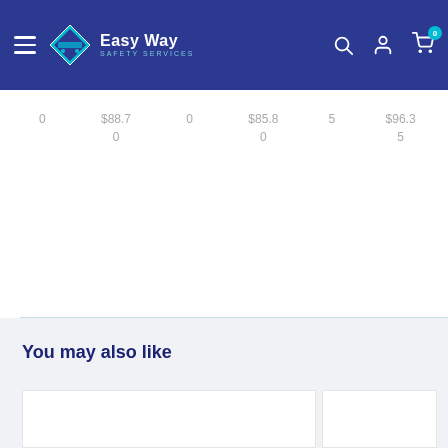Easy Way Safety Services navigation header
$88.70   0   $85.80   0   5   $96.35
You may also like
[Figure (other): Two white product card placeholders in a 'You may also like' recommendation section]